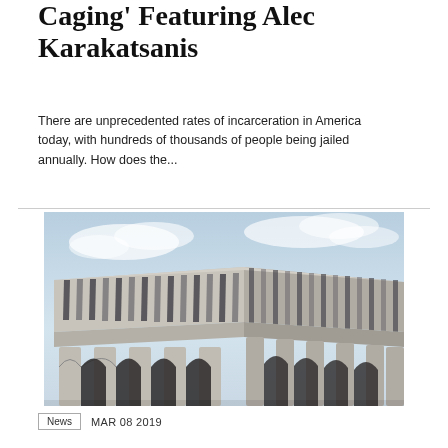Caging' Featuring Alec Karakatsanis
There are unprecedented rates of incarceration in America today, with hundreds of thousands of people being jailed annually. How does the...
[Figure (photo): Exterior of a brutalist concrete government building with tall vertical fins along the upper facade and arched columns at ground level, photographed from a low angle against a cloudy sky.]
News   MAR 08 2019